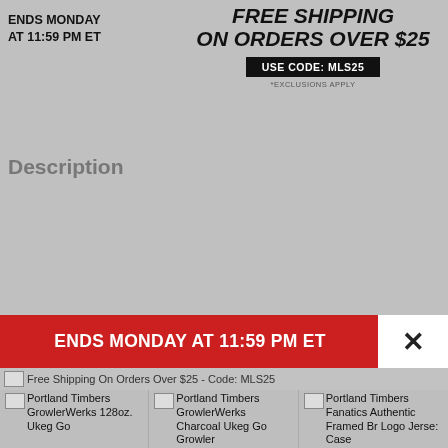ENDS MONDAY
AT 11:59 PM ET
FREE SHIPPING
ON ORDERS OVER $25
USE CODE: MLS25
*EXCLUSIONS APPLY
Description
ENDS MONDAY AT 11:59 PM ET
Free Shipping On Orders Over $25 - Code: MLS25
Portland Timbers GrowlerWerks 128oz. Ukeg Go
Portland Timbers GrowlerWerks Charcoal Ukeg Go Growler
Portland Timbers Fanatics Authentic Framed Branded Logo Jersey Case
Ships Free
Ships Free
$174.99
$119.99
$249.99
Portland Timbers GrowlerWerks 128oz. L...
Portland Timbers GrowlerWerks Charcoal...
Portland Timber Authentic Frar